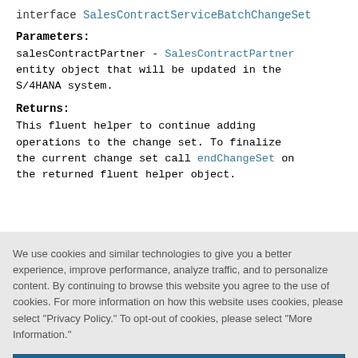interface SalesContractServiceBatchChangeSet
Parameters:
salesContractPartner - SalesContractPartner entity object that will be updated in the S/4HANA system.
Returns:
This fluent helper to continue adding operations to the change set. To finalize the current change set call endChangeSet on the returned fluent helper object.
We use cookies and similar technologies to give you a better experience, improve performance, analyze traffic, and to personalize content. By continuing to browse this website you agree to the use of cookies. For more information on how this website uses cookies, please select "Privacy Policy." To opt-out of cookies, please select "More Information."
Accept Cookies
More Information
Privacy Policy | Powered by: TrustArc
Specified by: